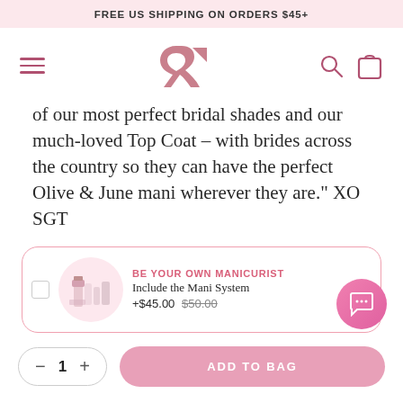FREE US SHIPPING ON ORDERS $45+
[Figure (logo): Navigation bar with hamburger menu, Olive & June ampersand logo, search and bag icons]
of our most perfect bridal shades and our much-loved Top Coat – with brides across the country so they can have the perfect Olive & June mani wherever they are." XO SGT
BE YOUR OWN MANICURIST
Include the Mani System
+$45.00  $50.00
ADD TO BAG